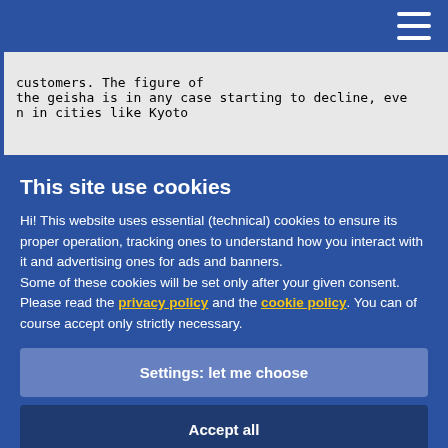customers. The figure of
the geisha is in any case starting to decline, even in cities like Kyoto
This site use cookies
Hi! This website uses essential (technical) cookies to ensure its proper operation, tracking ones to understand how you interact with it and advertising ones for ads and banners.
Some of these cookies will be set only after your given consent.
Please read the privacy policy and the cookie policy. You can of course accept only strictly necessary.
Settings: let me choose
Accept all